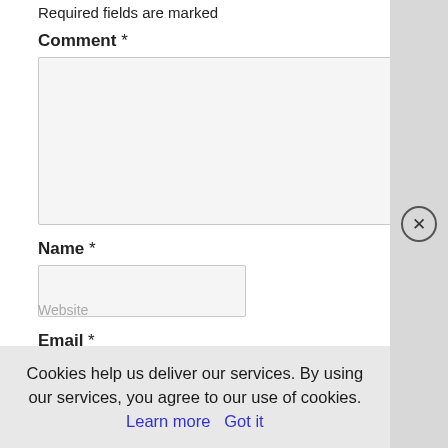Required fields are marked
Comment *
[Figure (other): Empty comment textarea input box with resize handle]
Name *
[Figure (other): Empty name text input box]
Email *
Website
Cookies help us deliver our services. By using our services, you agree to our use of cookies. Learn more  Got it